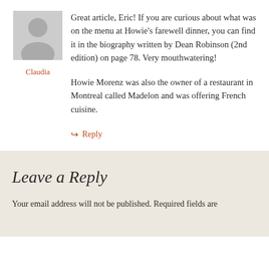[Figure (photo): Generic grey silhouette avatar image for commenter]
Claudia
Great article, Eric! If you are curious about what was on the menu at Howie’s farewell dinner, you can find it in the biography written by Dean Robinson (2nd edition) on page 78. Very mouthwatering!
Howie Morenz was also the owner of a restaurant in Montreal called Madelon and was offering French cuisine.
↳ Reply
Leave a Reply
Your email address will not be published. Required fields are